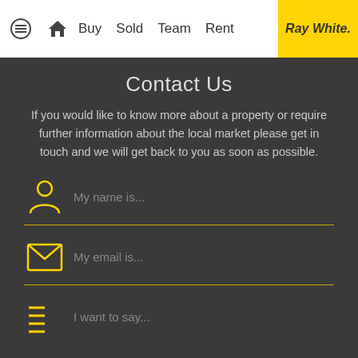Buy  Sold  Team  Rent | Ray White.
Contact Us
If you would like to know more about a property or require further information about the local market please get in touch and we will get back to you as soon as possible.
My name is...
My email is...
I want to say...